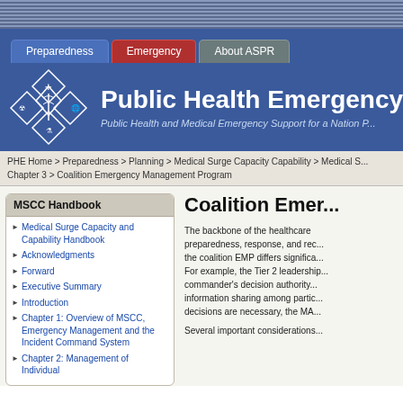Public Health Emergency — Public Health and Medical Emergency Support for a Nation Prepared
Preparedness | Emergency | About ASPR
PHE Home > Preparedness > Planning > Medical Surge Capacity Capability > Medical S... Chapter 3 > Coalition Emergency Management Program
MSCC Handbook
Medical Surge Capacity and Capability Handbook
Acknowledgments
Forward
Executive Summary
Introduction
Chapter 1: Overview of MSCC, Emergency Management and the Incident Command System
Chapter 2: Management of Individual
Coalition Emer...
The backbone of the healthcare preparedness, response, and rec... the coalition EMP differs significa... For example, the Tier 2 leadership... commander's decision authority... information sharing among partic... decisions are necessary, the MA...
Several important considerations...